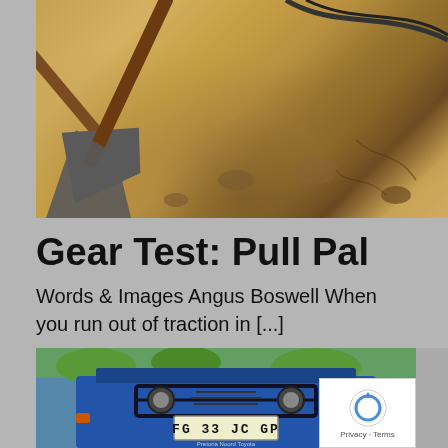[Figure (photo): Close-up photo of a shovel blade digging into sandy/rocky ground with pebbles, taken in bright sunlight. A strap or rope is visible in the upper right.]
Gear Test: Pull Pal
Words & Images Angus Boswell When you run out of traction in [...]
[Figure (photo): Front view of a blue 4WD vehicle (Toyota) with a bullbar, two round headlights, and a South African license plate reading 'FG 33 JC GP'. Trees visible in background.]